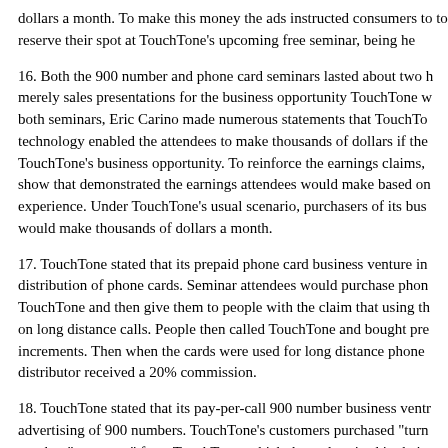dollars a month. To make this money the ads instructed consumers to to reserve their spot at TouchTone's upcoming free seminar, being he
16. Both the 900 number and phone card seminars lasted about two h merely sales presentations for the business opportunity TouchTone w both seminars, Eric Carino made numerous statements that TouchTo technology enabled the attendees to make thousands of dollars if the TouchTone's business opportunity. To reinforce the earnings claims, show that demonstrated the earnings attendees would make based on experience. Under TouchTone's usual scenario, purchasers of its bus would make thousands of dollars a month.
17. TouchTone stated that its prepaid phone card business venture in distribution of phone cards. Seminar attendees would purchase phon TouchTone and then give them to people with the claim that using th on long distance calls. People then called TouchTone and bought pre increments. Then when the cards were used for long distance phone distributor received a 20% commission.
18. TouchTone stated that its pay-per-call 900 number business ventr advertising of 900 numbers. TouchTone's customers purchased "turn number "programs" from TouchTone, which they advertised in their TouchTone handled everything else that was needed to operate a 900 such as format, content and billing. TouchTone's customers made mo portion of the revenue generated when consumers called the 900 nu